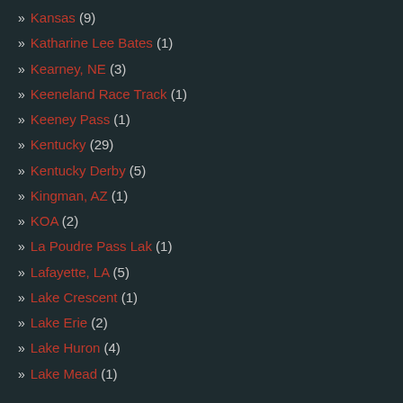» Kansas (9)
» Katharine Lee Bates (1)
» Kearney, NE (3)
» Keeneland Race Track (1)
» Keeney Pass (1)
» Kentucky (29)
» Kentucky Derby (5)
» Kingman, AZ (1)
» KOA (2)
» La Poudre Pass Lak (1)
» Lafayette, LA (5)
» Lake Crescent (1)
» Lake Erie (2)
» Lake Huron (4)
» Lake Mead (1)